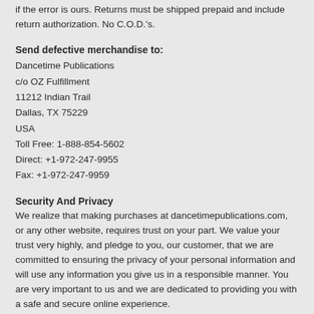if the error is ours. Returns must be shipped prepaid and include return authorization. No C.O.D.'s.
Send defective merchandise to:
Dancetime Publications
c/o OZ Fulfillment
11212 Indian Trail
Dallas, TX 75229
USA
Toll Free: 1-888-854-5602
Direct: +1-972-247-9955
Fax: +1-972-247-9959
Security And Privacy
We realize that making purchases at dancetimepublications.com, or any other website, requires trust on your part. We value your trust very highly, and pledge to you, our customer, that we are committed to ensuring the privacy of your personal information and will use any information you give us in a responsible manner. You are very important to us and we are dedicated to providing you with a safe and secure online experience.
This Privacy Statement describes how we collect and use your information and gives you choices as to how we use it. We suggest